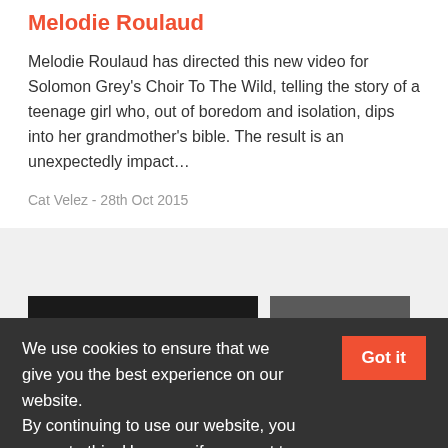Melodie Roulaud
Melodie Roulaud has directed this new video for Solomon Grey's Choir To The Wild, telling the story of a teenage girl who, out of boredom and isolation, dips into her grandmother's bible. The result is an unexpectedly impact…
Cat Velez - 28th Oct 2015
We use cookies to ensure that we give you the best experience on our website.
By continuing to use our website, you agree to this. However, if you want to manage your cookie settings, you can find out more here.